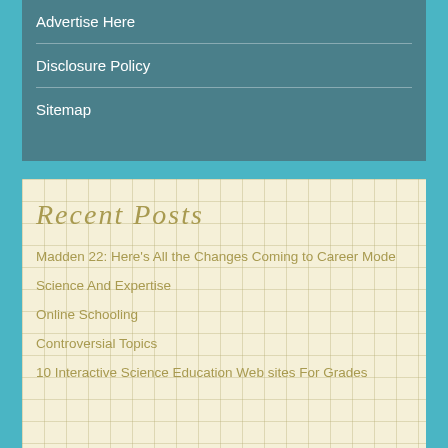Advertise Here
Disclosure Policy
Sitemap
Recent Posts
Madden 22: Here's All the Changes Coming to Career Mode
Science And Expertise
Online Schooling
Controversial Topics
10 Interactive Science Education Web sites For Grades